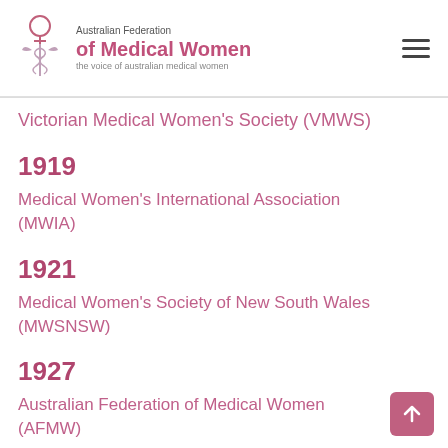[Figure (logo): Australian Federation of Medical Women logo with caduceus symbol and text]
Victorian Medical Women's Society (VMWS)
1919
Medical Women's International Association (MWIA)
1921
Medical Women's Society of New South Wales (MWSNSW)
1927
Australian Federation of Medical Women (AFMW)